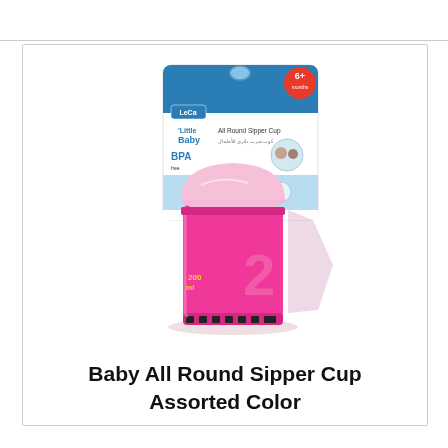[Figure (photo): A pink baby all round sipper cup with its packaging. The packaging shows the LeCa brand logo, 'Little Baby' text, '6+ months' age indicator, 'BPA' label, and 'All Round Sipper Cup' text in English and Arabic. The pink cup has a domed spout lid, a large number '2' on the body in pink, yellow decorative text, and a black dotted base ring.]
Baby All Round Sipper Cup Assorted Color